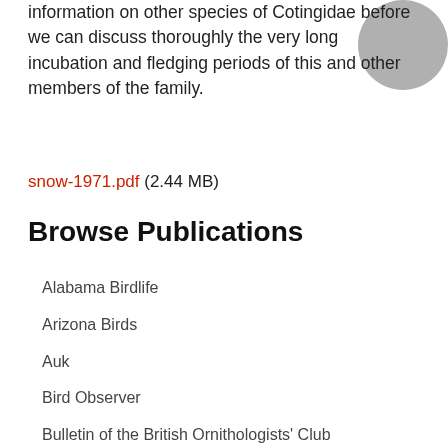information on other species of Cotingidae before we can discuss thoroughly the very long incubation and fledging periods of this and other members of the family.
snow-1971.pdf (2.44 MB)
Browse Publications
Alabama Birdlife
Arizona Birds
Auk
Bird Observer
Bulletin of the British Ornithologists' Club
Bulletin of the Nuttall Ornithological Club
Cleveland Bird Calendar
Condor
Continental Birdlife